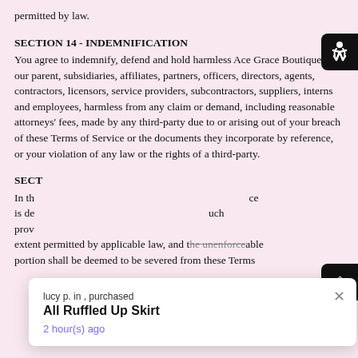permitted by law.
SECTION 14 - INDEMNIFICATION
You agree to indemnify, defend and hold harmless Ace Grace Boutique and our parent, subsidiaries, affiliates, partners, officers, directors, agents, contractors, licensors, service providers, subcontractors, suppliers, interns and employees, harmless from any claim or demand, including reasonable attorneys' fees, made by any third-party due to or arising out of your breach of these Terms of Service or the documents they incorporate by reference, or your violation of any law or the rights of a third-party.
SECT...
In th... ce is de... uch prov... extent permitted by applicable law, and the unenforceable portion shall be deemed to be severed from these Terms
lucy p. in , purchased
All Ruffled Up Skirt
2 hour(s) ago